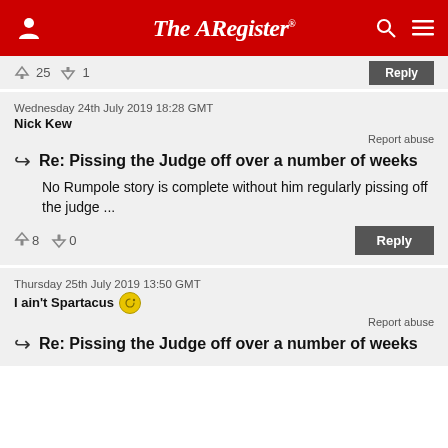The Register
Wednesday 24th July 2019 18:28 GMT
Nick Kew
Report abuse
Re: Pissing the Judge off over a number of weeks
No Rumpole story is complete without him regularly pissing off the judge ...
8 upvotes, 0 downvotes
Thursday 25th July 2019 13:50 GMT
I ain't Spartacus
Report abuse
Re: Pissing the Judge off over a number of weeks